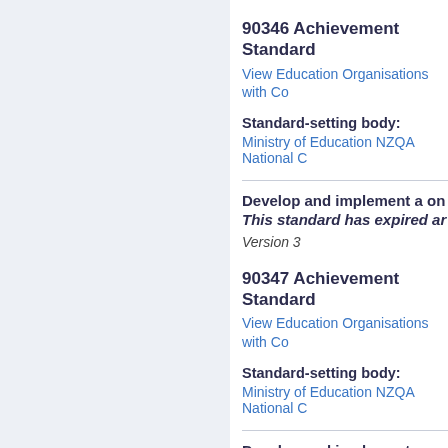90346 Achievement Standard
View Education Organisations with Co
Standard-setting body:
Ministry of Education NZQA National C
Develop and implement a on
This standard has expired ar
Version 3
90347 Achievement Standard
View Education Organisations with Co
Standard-setting body:
Ministry of Education NZQA National C
Develop and implement a on
This standard has expired ar
Version 3